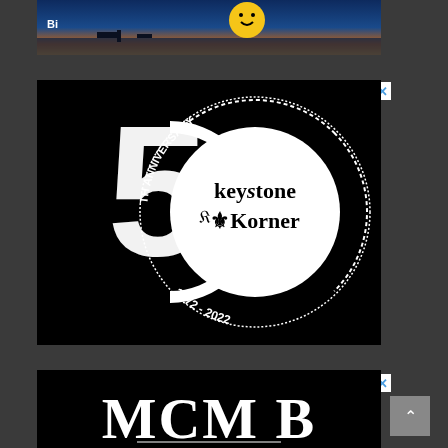[Figure (photo): Top advertisement banner with sunset/ocean background and yellow smiley face icon]
[Figure (logo): Keystone Korner 50th Anniversary advertisement (1972-2022) - black background with white circular logo design featuring large '50' and 'keystone Korner' text in center circle with 'TH ANNIVERSARY' and '1972-2022' around the perimeter]
[Figure (logo): MCM B logo advertisement - black background with ornate white letter M and B monogram]